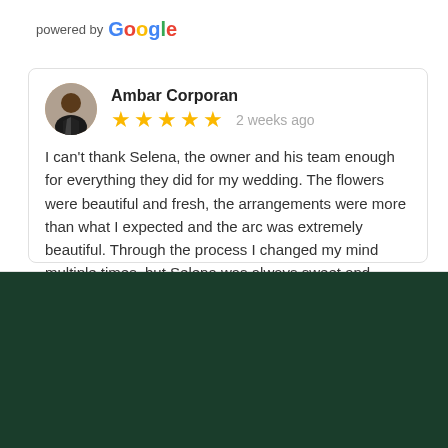[Figure (logo): powered by Google logo text]
Ambar Corporan
[Figure (other): Five gold star rating with '2 weeks ago' timestamp]
I can't thank Selena, the owner and his team enough for everything they did for my wedding. The flowers were beautiful and fresh, the arrangements were more than what I expected and the arc was extremely beautiful. Through the process I changed my mind multiple times, but Selena was always sweet and accommodating. I recommend
Sign up for offers
email@example.com
Subscribe
to top
Store Address